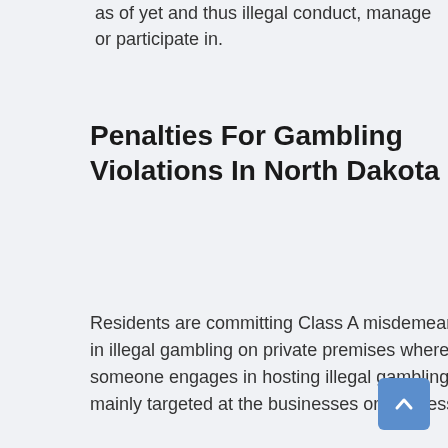as of yet and thus illegal conduct, manage or participate in.
Penalties For Gambling Violations In North Dakota
Residents are committing Class A misdemeanor if they sell or play in unauthorized lotteries or participate in illegal gambling on private premises where the wagers exceed $500. It becomes a felony when someone engages in hosting illegal gambling. This is the case with most gambling laws where they are mainly targeted at the businesses or business-owners, not the individual players.